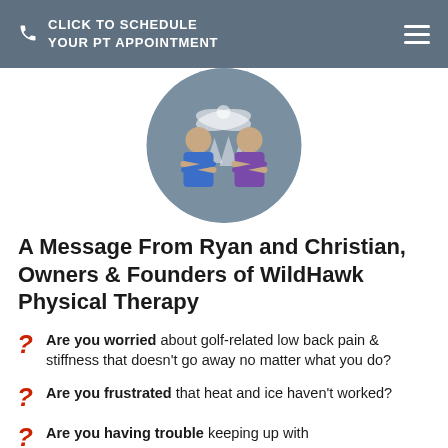CLICK TO SCHEDULE YOUR PT APPOINTMENT
[Figure (photo): Two men (Ryan and Christian) standing with arms crossed in front of a decorative background featuring an eagle and pine trees, displayed in a circular crop.]
A Message From Ryan and Christian, Owners & Founders of WildHawk Physical Therapy
Are you worried about golf-related low back pain & stiffness that doesn't go away no matter what you do?
Are you frustrated that heat and ice haven't worked?
Are you having trouble keeping up with